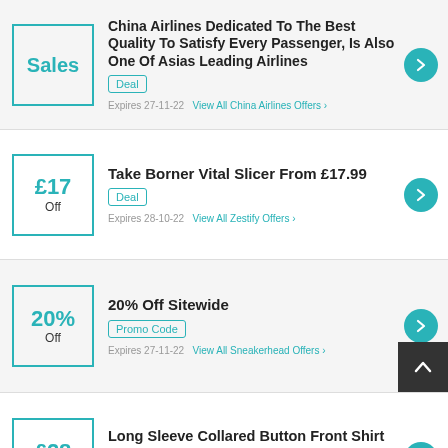China Airlines Dedicated To The Best Quality To Satisfy Every Passenger, Is Also One Of Asias Leading Airlines | Deal | Expires 27-11-22 | View All China Airlines Offers | Sales
Take Borner Vital Slicer From £17.99 | Deal | Expires 28-10-22 | View All Zestify Offers | £17 Off
20% Off Sitewide | Promo Code | Expires 27-11-22 | View All Sneakerhead Offers | 20% Off
Long Sleeve Collared Button Front Shirt By Nina Leonard Only £28.96 | Deal | £28 Off